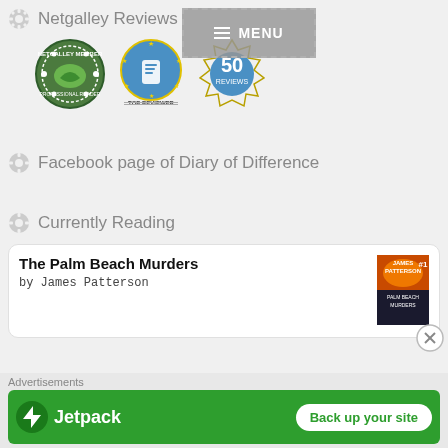Netgalley Reviews
[Figure (logo): Three NetGalley badges: Netgalley Member Professional Reader badge, Top Reviewer badge, and 50 Reviews badge]
Facebook page of Diary of Difference
Currently Reading
The Palm Beach Murders by James Patterson
Advertisements
[Figure (screenshot): Jetpack advertisement banner with Back up your site button]